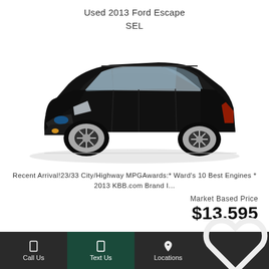Used 2013 Ford Escape
SEL
[Figure (photo): Black 2013 Ford Escape SEL SUV on white background, front three-quarter view]
Recent Arrival!23/33 City/Highway MPGAwards:* Ward's 10 Best Engines * 2013 KBB.com Brand I...
Market Based Price
$13,595
Call Us   Text Us   Locations   Favorites 0